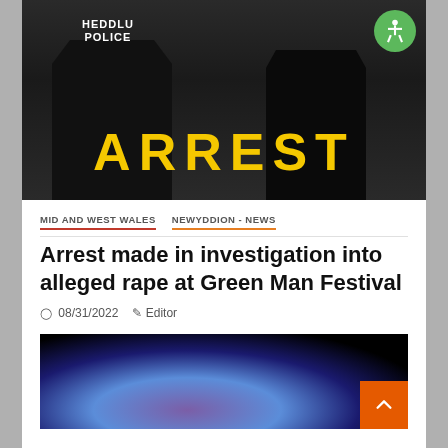[Figure (photo): Black and white photo of two police officers walking away from camera with HEDDLU POLICE text on shirt, with large yellow 'ARREST' text overlaid at bottom. Green accessibility icon in top right corner.]
MID AND WEST WALES   NEWYDDION - NEWS
Arrest made in investigation into alleged rape at Green Man Festival
08/31/2022   Editor
[Figure (photo): Dark blurred image with purple and blue bokeh lights against black background, bottom of article with orange back-to-top button in bottom right.]